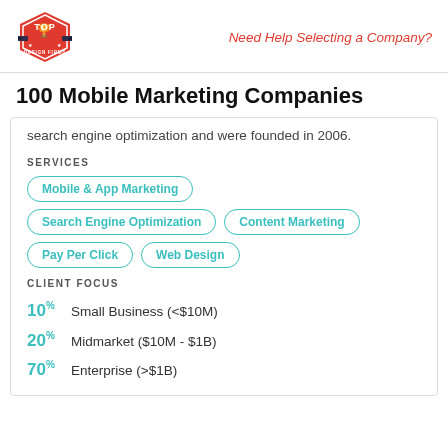Need Help Selecting a Company?
100 Mobile Marketing Companies
search engine optimization and were founded in 2006.
SERVICES
Mobile & App Marketing
Search Engine Optimization
Content Marketing
Pay Per Click
Web Design
CLIENT FOCUS
10% Small Business (<$10M)
20% Midmarket ($10M - $1B)
70% Enterprise (>$1B)